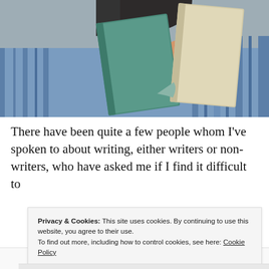[Figure (photo): A person holding two books up in front of their face, wearing a blue and white striped shirt, with dark hair visible. The books are teal/green and beige colored.]
There have been quite a few people whom I've spoken to about writing, either writers or non-writers, who have asked me if I find it difficult to
Privacy & Cookies: This site uses cookies. By continuing to use this website, you agree to their use.
To find out more, including how to control cookies, see here: Cookie Policy
Close and accept